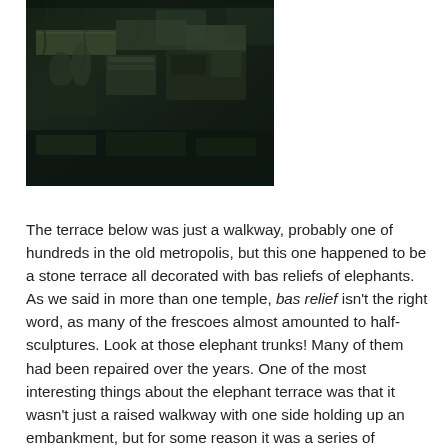[Figure (photo): Dark photograph of ancient stone temple ruins with carved stone figures and architectural details, likely Angkor Wat or similar Khmer temple complex]
The terrace below was just a walkway, probably one of hundreds in the old metropolis, but this one happened to be a stone terrace all decorated with bas reliefs of elephants. As we said in more than one temple, bas relief isn't the right word, as many of the frescoes almost amounted to half-sculptures. Look at those elephant trunks! Many of them had been repaired over the years. One of the most interesting things about the elephant terrace was that it wasn't just a raised walkway with one side holding up an embankment, but for some reason it was a series of closely-spaced walls with staircases that allowed you to go down into the little spaces between them, and then wind your way around corners. It made no sense that they were built that way, and you could barely look at the sculpted walls because they were all so close together. It felt like being in a secret passage.